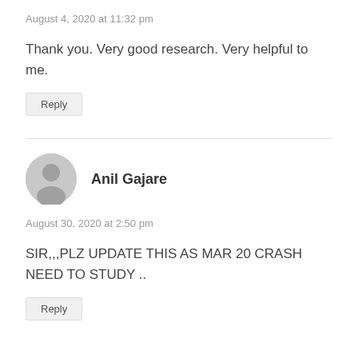August 4, 2020 at 11:32 pm
Thank you. Very good research. Very helpful to me.
Reply
Anil Gajare
August 30, 2020 at 2:50 pm
SIR,,,PLZ UPDATE THIS AS MAR 20 CRASH NEED TO STUDY ..
Reply